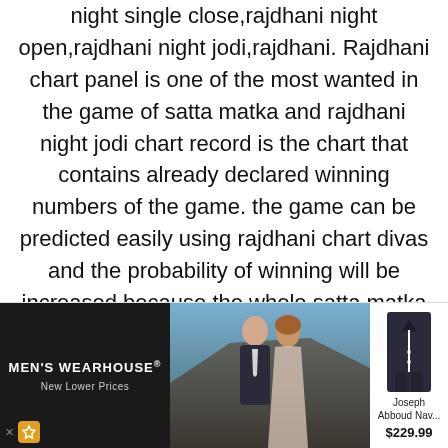night single close,rajdhani night open,rajdhani night jodi,rajdhani. Rajdhani chart panel is one of the most wanted in the game of satta matka and rajdhani night jodi chart record is the chart that contains already declared winning numbers of the game. the game can be predicted easily using rajdhani chart divas and the probability of winning will be increased because the whole satta matka game is scientific. 31 12 2021:
23: 26: 55: 60: 03 01 2022 to 07 01 2022:
[Figure (screenshot): Advertisement banner for Men's Wearhouse showing a couple in formal wear and a Joseph Abboud navy suit priced at $229.99]